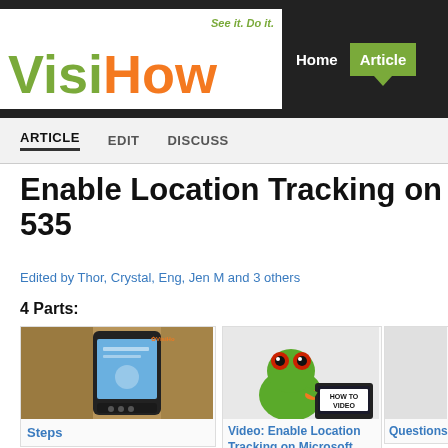VisiHow — See it. Do it. | Home | Articles
ARTICLE   EDIT   DISCUSS
Enable Location Tracking on 535
Edited by Thor, Crystal, Eng, Jen M and 3 others
4 Parts:
[Figure (screenshot): Screenshot of Microsoft Lumia 535 phone with location settings screen]
Steps
[Figure (illustration): Green frog mascot holding a laptop with 'HOW TO VIDEO' text]
Video: Enable Location Tracking on Microsoft Lumia 535
Questions